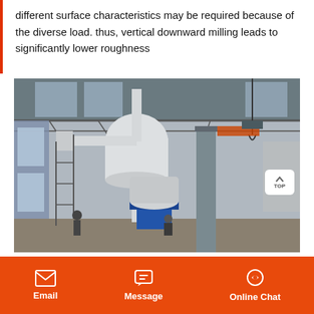different surface characteristics may be required because of the diverse load. thus, vertical downward milling leads to significantly lower roughness
[Figure (photo): Industrial milling facility interior showing large milling machines with white cyclone dust collectors, steel framework, piping systems, a blue electric motor, and workers in the background.]
Email   Message   Online Chat